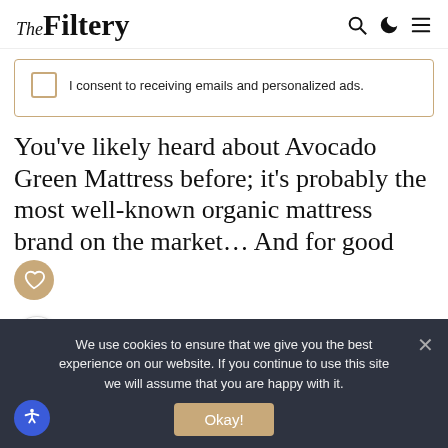The Filtery
I consent to receiving emails and personalized ads.
You’ve likely heard about Avocado Green Mattress before; it’s probably the most well-known organic mattress brand on the market… And for good
We use cookies to ensure that we give you the best experience on our website. If you continue to use this site we will assume that you are happy with it.